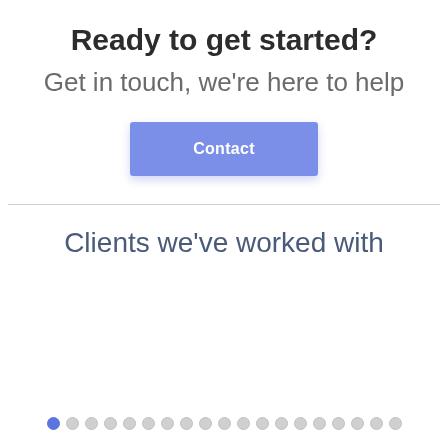Ready to get started?
Get in touch, we're here to help
[Figure (other): Blue button labeled 'Contact']
Clients we've worked with
[Figure (other): Pagination dots: 1 filled blue dot followed by 18 empty circle dots]